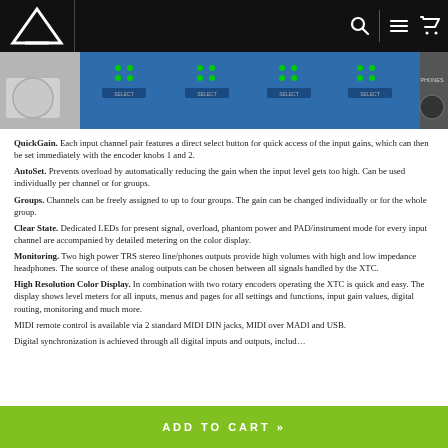AAVIM TECHNOLOGY — navigation header with search, menu, and cart icons
[Figure (photo): Close-up photo of a rack-mounted audio interface front panel showing channel strips with green LEDs, SELECT buttons, and PHONES labels on a blue/silver panel.]
QuickGain. Each input channel pair features a direct select button for quick access of the input gains, which can then be set immediately with the encoder knobs 1 and 2.
AutoSet. Prevents overload by automatically reducing the gain when the input level gets too high. Can be used individually per channel or for groups.
Groups. Channels can be freely assigned to up to four groups. The gain can be changed individually or for the whole group.
Clear State. Dedicated LEDs for present signal, overload, phantom power and PAD/instrument mode for every input channel are accompanied by detailed metering on the color display.
Monitoring. Two high power TRS stereo line/phones outputs provide high volumes with high and low impedance headphones. The source of these analog outputs can be chosen between all signals handled by the XTC.
High Resolution Color Display. In combination with two rotary encoders operating the XTC is quick and easy. The display shows level meters for all inputs, menus and pages for all settings and functions, input gain values, digital routing, monitoring and much more.
MIDI remote control is available via 2 standard MIDI DIN jacks, MIDI over MADI and USB.
Digital synchronization is achieved through all digital inputs and outputs, includ…
ADD TO CART »